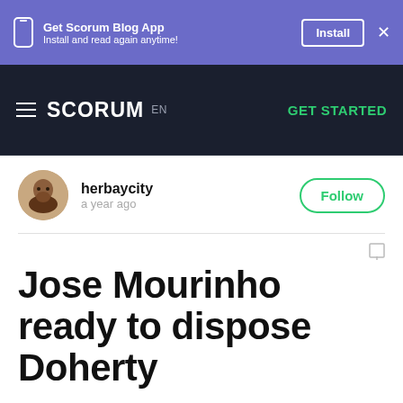Get Scorum Blog App
Install and read again anytime!
Install
SCORUM EN GET STARTED
herbaycity
a year ago
Jose Mourinho ready to dispose Doherty